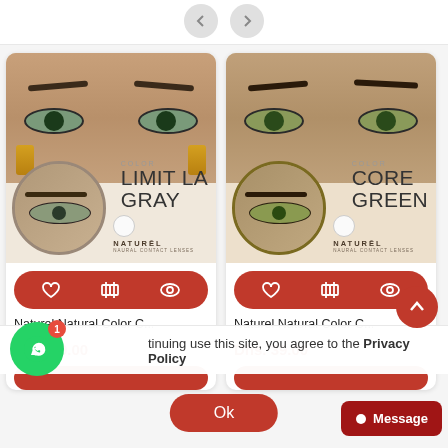[Figure (screenshot): Navigation arrows at top of product listing page]
[Figure (photo): Product card: Naturel Natural Color Contact Lens - Limit La Gray, showing model wearing gray contacts, close-up circle, color swatch, brand logo, action buttons (wishlist, compare, view), product name, price Dhs. 39.00]
Naturel Natural Color C...
Dhs. 39.00
[Figure (photo): Product card: Naturel Natural Color Contact Lens - Core Green, showing model wearing green contacts, close-up circle with brown border, color swatch, brand logo, action buttons (wishlist, compare, view), product name, price Dhs. 39.00]
Naturel Natural Color C...
Dhs. 39.00
...tinuing use this site, you agree to the Privacy Policy